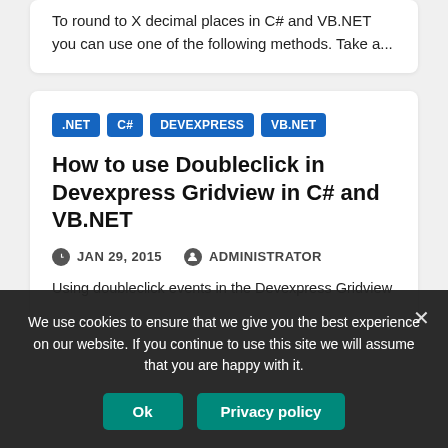To round to X decimal places in C# and VB.NET you can use one of the following methods. Take a...
.NET  C#  DEVEXPRESS  VB.NET
How to use Doubleclick in Devexpress Gridview in C# and VB.NET
JAN 29, 2015   ADMINISTRATOR
Using doubleclick events in the Devexpress Gridview...
We use cookies to ensure that we give you the best experience on our website. If you continue to use this site we will assume that you are happy with it.